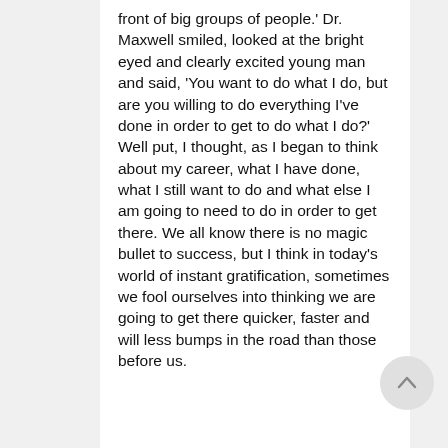front of big groups of people.' Dr. Maxwell smiled, looked at the bright eyed and clearly excited young man and said, 'You want to do what I do, but are you willing to do everything I've done in order to get to do what I do?' Well put, I thought, as I began to think about my career, what I have done, what I still want to do and what else I am going to need to do in order to get there. We all know there is no magic bullet to success, but I think in today's world of instant gratification, sometimes we fool ourselves into thinking we are going to get there quicker, faster and will less bumps in the road than those before us.